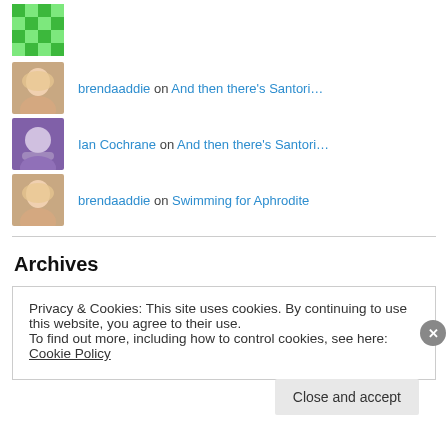brendaaddie on And then there's Santori…
Ian Cochrane on And then there's Santori…
brendaaddie on Swimming for Aphrodite
Archives
Privacy & Cookies: This site uses cookies. By continuing to use this website, you agree to their use.
To find out more, including how to control cookies, see here: Cookie Policy
Close and accept